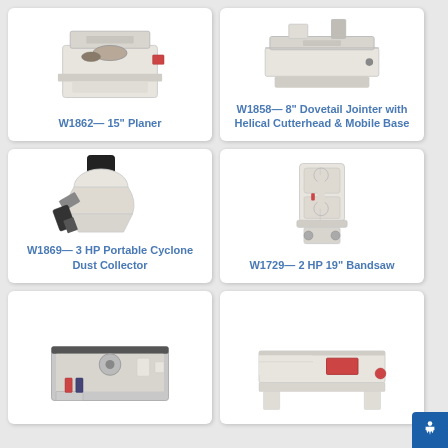[Figure (photo): W1862 15-inch planer machine, white/cream colored industrial woodworking equipment]
W1862— 15" Planer
[Figure (photo): W1858 8-inch dovetail jointer with helical cutterhead and mobile base, white industrial woodworking equipment]
W1858— 8" Dovetail Jointer with Helical Cutterhead & Mobile Base
[Figure (photo): W1869 3 HP portable cyclone dust collector, white machine with black motor on top]
W1869— 3 HP Portable Cyclone Dust Collector
[Figure (photo): W1729 2 HP 19-inch bandsaw, white tall vertical bandsaw machine]
W1729— 2 HP 19" Bandsaw
[Figure (photo): Woodworking shaper machine, white with flat table top, partially visible]
[Figure (photo): Woodworking jointer machine, white with red components, partially visible]